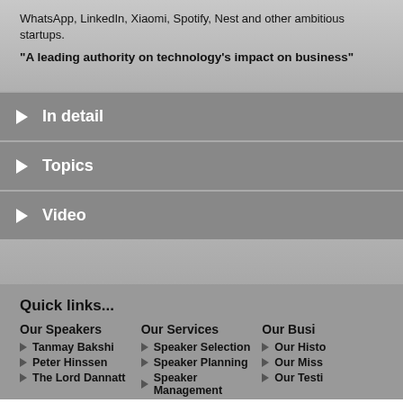WhatsApp, LinkedIn, Xiaomi, Spotify, Nest and other ambitious startups.
"A leading authority on technology's impact on business"
In detail
Topics
Video
Quick links...
Our Speakers
Tanmay Bakshi
Peter Hinssen
The Lord Dannatt
Our Services
Speaker Selection
Speaker Planning
Speaker Management
Our Busi
Our Histo
Our Miss
Our Testi
© 1984 - 2022 Celebrity Speakers Ltd
Sitem